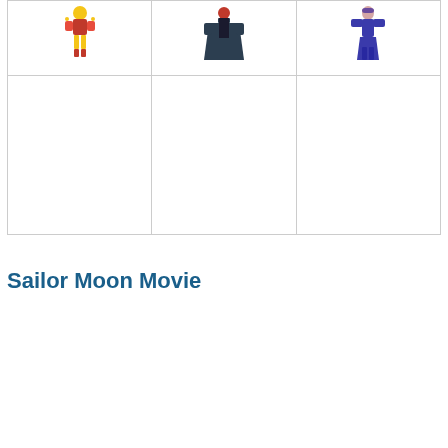[Figure (illustration): Grid of 6 cells (2 rows x 3 columns) showing anime character illustrations. Top row has three character figures: a yellow/red armored figure, a dark/black caped figure, and a blue/purple figure. Bottom row has three empty cells.]
Sailor Moon Movie